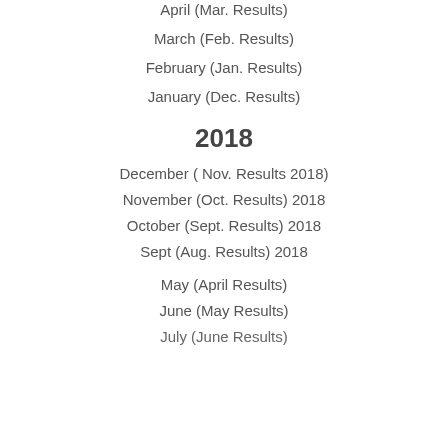April (Mar. Results)
March (Feb. Results)
February (Jan. Results)
January (Dec. Results)
2018
December ( Nov. Results 2018)
November (Oct. Results) 2018
October (Sept. Results) 2018
Sept (Aug. Results) 2018
May (April Results)
June (May Results)
July (June Results)